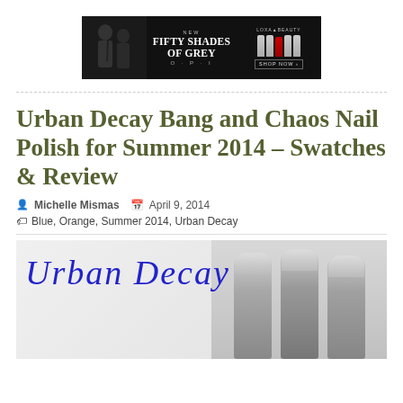[Figure (photo): Advertisement banner for OPI Fifty Shades of Grey collection featuring Loxa Beauty, dark background with couple silhouette and nail polish bottles]
Urban Decay Bang and Chaos Nail Polish for Summer 2014 – Swatches & Review
Michelle Mismas   April 9, 2014
Blue, Orange, Summer 2014, Urban Decay
[Figure (photo): Urban Decay branded product photo showing nail polish bottles with cursive Urban Decay logo text in blue]